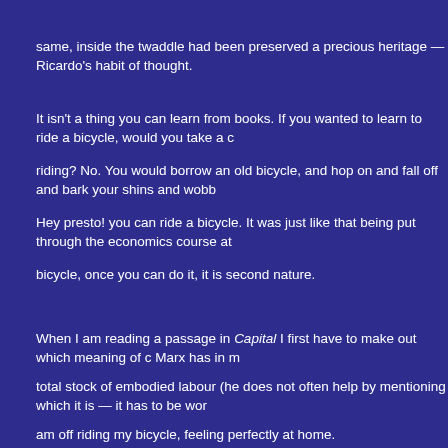same, inside the twaddle had been preserved a precious heritage — Ricardo's habit of thought.
It isn't a thing you can learn from books. If you wanted to learn to ride a bicycle, would you take a
riding? No. You would borrow an old bicycle, and hop on and fall off and bark your shins and wobb
Hey presto! you can ride a bicycle. It was just like that being put through the economics course at
bicycle, once you can do it, it is second nature.
When I am reading a passage in Capital I first have to make out which meaning of c Marx has in m
total stock of embodied labour (he does not often help by mentioning which it is — it has to be wor
am off riding my bicycle, feeling perfectly at home.
A Marxist is quite different. He knows that what Marx says is bound to be right in either case, so w
working out whether c is a stock or a flow?
Then I come to a place where Marx says that he means the flow, although it is pretty clear from the